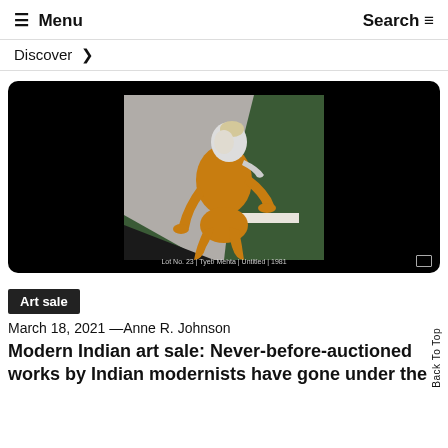☰ Menu   Search
Discover ❯
[Figure (illustration): A modernist painting showing an orange/yellow stylized human figure seated against a grey and dark green geometric background. The figure has a white face/head tilted, leaning on one arm. Painting label at bottom: Lot No. 23 | Tyeb Mehta | Untitled | 1981]
Lot No. 23 | Tyeb Mehta | Untitled | 1981
Art sale
March 18, 2021 —Anne R. Johnson
Modern Indian art sale: Never-before-auctioned works by Indian modernists have gone under the